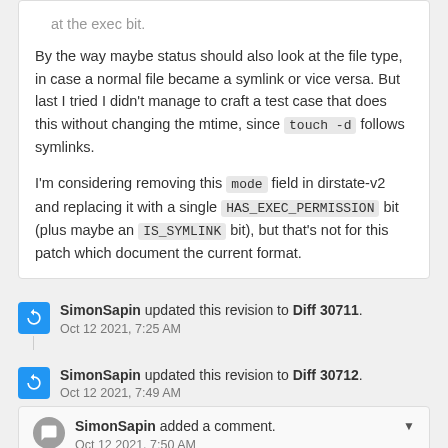at the exec bit.

By the way maybe status should also look at the file type, in case a normal file became a symlink or vice versa. But last I tried I didn't manage to craft a test case that does this without changing the mtime, since touch -d follows symlinks.

I'm considering removing this mode field in dirstate-v2 and replacing it with a single HAS_EXEC_PERMISSION bit (plus maybe an IS_SYMLINK bit), but that's not for this patch which document the current format.
SimonSapin updated this revision to Diff 30711. Oct 12 2021, 7:25 AM
SimonSapin updated this revision to Diff 30712. Oct 12 2021, 7:49 AM
SimonSapin added a comment. Oct 12 2021, 7:50 AM